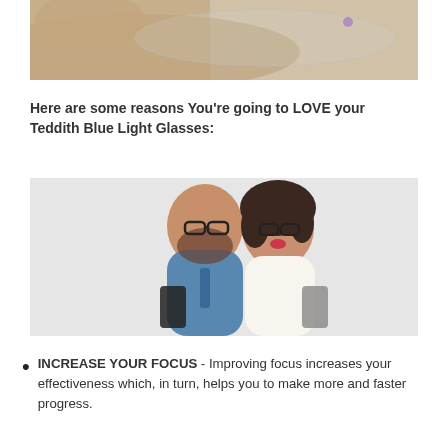[Figure (photo): Close-up photo of fingers holding a transparent optical lens with a purple reflection dot visible]
Here are some reasons You're going to LOVE your Teddith Blue Light Glasses:
[Figure (photo): A smiling man and woman wearing glasses, standing back-to-back, each holding a smartphone device, on a gray background]
INCREASE YOUR FOCUS - Improving focus increases your effectiveness which, in turn, helps you to make more and faster progress.